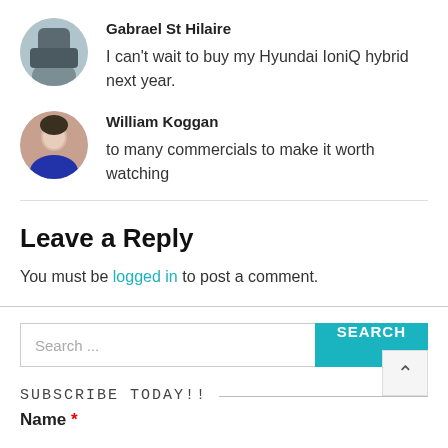[Figure (photo): Circular avatar photo of Gabrael St Hilaire showing a person with a dark background]
Gabrael St Hilaire
I can't wait to buy my Hyundai IoniQ hybrid next year.
[Figure (photo): Circular avatar photo of William Koggan showing a person wearing a blue jacket]
William Koggan
to many commercials to make it worth watching
Leave a Reply
You must be logged in to post a comment.
[Figure (other): Search input field with placeholder 'Search ...' and a teal SEARCH button]
SUBSCRIBE TODAY!!
Name *